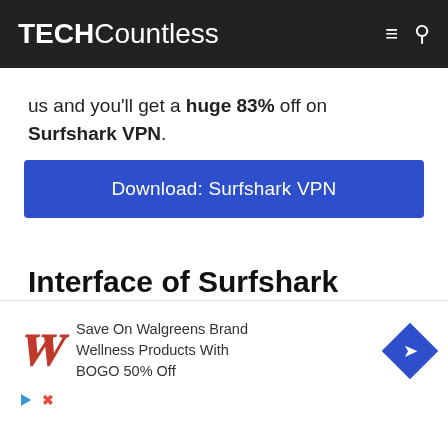TECHCountless
us and you'll get a huge 83% off on Surfshark VPN.
[Figure (other): Blue download button labeled 'Download: Surfshark VPN']
Interface of Surfshark
[Figure (screenshot): Partial view of Surfshark app screenshots showing teal and dark phone screens]
[Figure (other): Advertisement banner: Save On Walgreens Brand Wellness Products With BOGO 50% Off, with Walgreens W logo and blue diamond arrow icon]